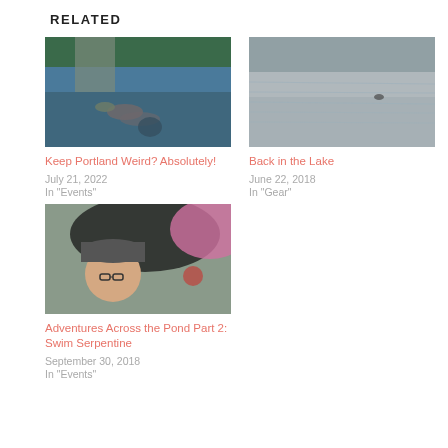Related
[Figure (photo): Swimmer in open water near a bridge with colorful buoys, view from above]
Keep Portland Weird? Absolutely!
July 21, 2022
In "Events"
[Figure (photo): Black and white photo of a lake with a small figure (possibly a swimmer or animal) in the water]
Back in the Lake
June 22, 2018
In "Gear"
[Figure (photo): Person wearing a hat and glasses, with a large dark umbrella and a pink/red buoy in background]
Adventures Across the Pond Part 2: Swim Serpentine
September 30, 2018
In "Events"